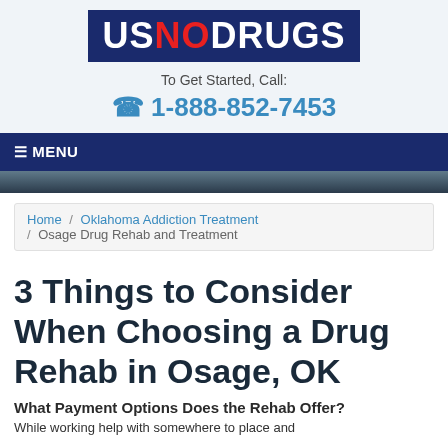[Figure (logo): USNODRUGS logo in a dark blue rectangle with US and DRUGS in white, NO in red]
To Get Started, Call:
☎ 1-888-852-7453
≡ MENU
Home / Oklahoma Addiction Treatment / Osage Drug Rehab and Treatment
3 Things to Consider When Choosing a Drug Rehab in Osage, OK
What Payment Options Does the Rehab Offer?
While working help with somewhere to place and